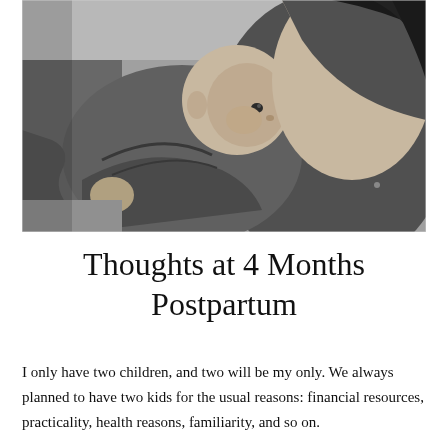[Figure (photo): Black and white photograph of a woman breastfeeding a baby wrapped in a blanket. The baby is cradled against the woman's chest, looking up slightly. The woman's dark hair is visible at the top right.]
Thoughts at 4 Months Postpartum
I only have two children, and two will be my only. We always planned to have two kids for the usual reasons: financial resources, practicality, health reasons, familiarity, and so on.